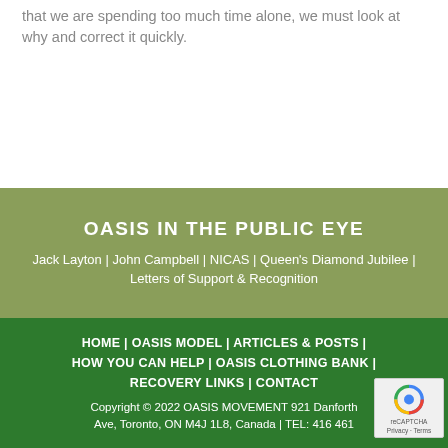that we are spending too much time alone, we must look at why and correct it quickly.
OASIS IN THE PUBLIC EYE
Jack Layton | John Campbell | NICAS | Queen's Diamond Jubilee | Letters of Support & Recognition
HOME | OASIS MODEL | ARTICLES & POSTS | HOW YOU CAN HELP | OASIS CLOTHING BANK | RECOVERY LINKS | CONTACT
Copyright © 2022 OASIS MOVEMENT 921 Danforth Ave, Toronto, ON M4J 1L8, Canada | TEL: 416 461